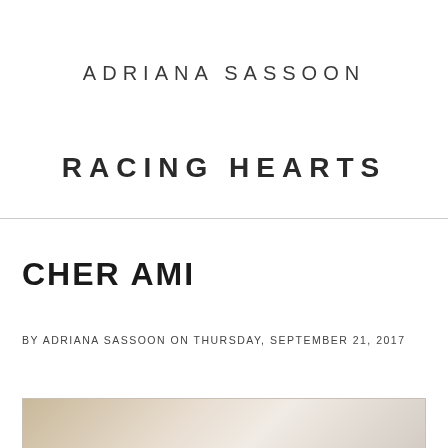ADRIANA SASSOON
RACING HEARTS
CHER AMI
BY ADRIANA SASSOON ON THURSDAY, SEPTEMBER 21, 2017
[Figure (photo): Partial image visible at bottom of page, appears to be a photograph]